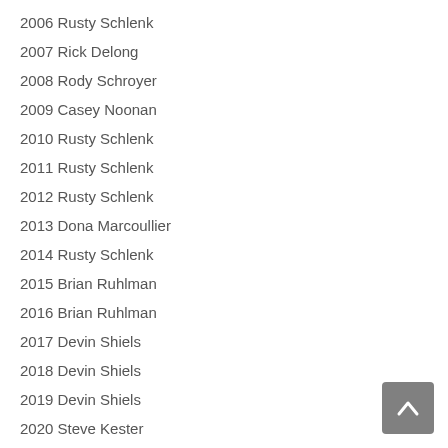2006 Rusty Schlenk
2007 Rick Delong
2008 Rody Schroyer
2009 Casey Noonan
2010 Rusty Schlenk
2011 Rusty Schlenk
2012 Rusty Schlenk
2013 Dona Marcoullier
2014 Rusty Schlenk
2015 Brian Ruhlman
2016 Brian Ruhlman
2017 Devin Shiels
2018 Devin Shiels
2019 Devin Shiels
2020 Steve Kester
2021 Devin Shiels